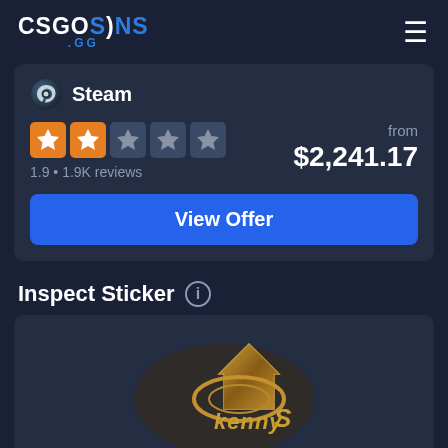CSGOSKINS.GG
Steam
1.9 • 1.9K reviews
from
$2,241.17
View Offer
Inspect Sticker
[Figure (illustration): Kenny S. gold sticker from CS:GO, displayed against dark background]